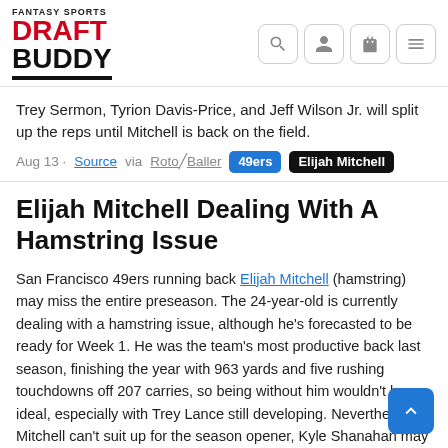FANTASY SPORTS DRAFT BUDDY
Trey Sermon, Tyrion Davis-Price, and Jeff Wilson Jr. will split up the reps until Mitchell is back on the field.
Aug 13 · Source via RotoBaller 49ers Elijah Mitchell
Elijah Mitchell Dealing With A Hamstring Issue
San Francisco 49ers running back Elijah Mitchell (hamstring) may miss the entire preseason. The 24-year-old is currently dealing with a hamstring issue, although he's forecasted to be ready for Week 1. He was the team's most productive back last season, finishing the year with 963 yards and five rushing touchdowns off 207 carries, so being without him wouldn't be ideal, especially with Trey Lance still developing. Nevertheless, if Mitchell can't suit up for the season opener, Kyle Shanahan may lean on Jeff Wilson Jr., Trey Sermon, and rookie Tyrion Davis-Price to collectively carry the load.